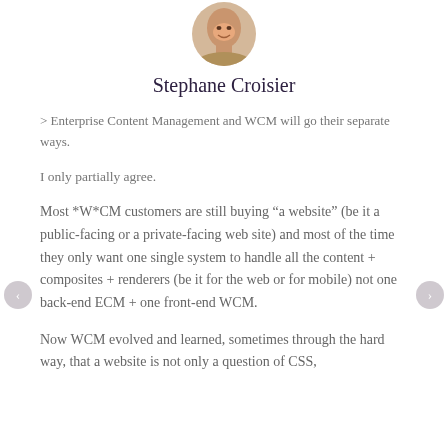[Figure (photo): Circular profile photo of Stephane Croisier showing face and shoulders]
Stephane Croisier
> Enterprise Content Management and WCM will go their separate ways.
I only partially agree.
Most *W*CM customers are still buying “a website” (be it a public-facing or a private-facing web site) and most of the time they only want one single system to handle all the content + composites + renderers (be it for the web or for mobile) not one back-end ECM + one front-end WCM.
Now WCM evolved and learned, sometimes through the hard way, that a website is not only a question of CSS,